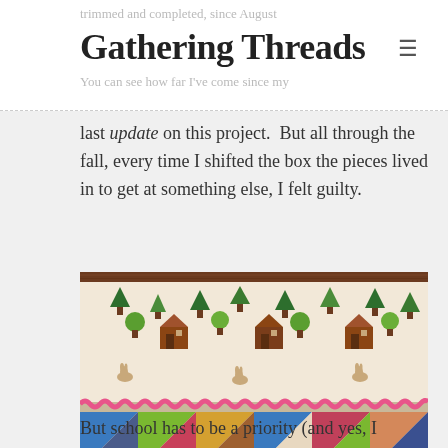trimmed and completed, since August
Gathering Threads
You can see how far I've come since my
last update on this project.  But all through the fall, every time I shifted the box the pieces lived in to get at something else, I felt guilty.
[Figure (photo): Photo of a quilt showing two sections: upper section is a decorative fabric border with illustrated houses, trees, and animals in muted tones; lower section displays a kaleidoscope/pinwheel quilt pattern with colorful triangles in blue, green, pink, brown, and white. Watermark reads www.clairemeldrum.ca]
But school has to be a priority (and yes, I